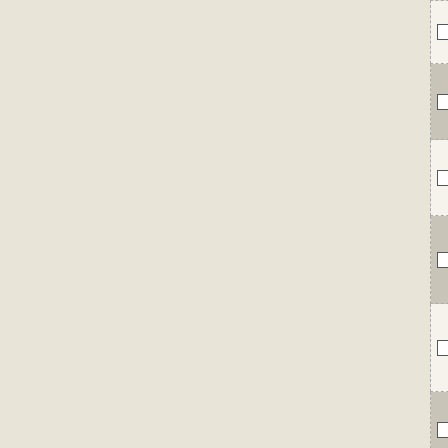| checkbox | accession | gene | description |
| --- | --- | --- | --- |
| ☐ | NC_012918 | GM21_3877 | TrkA-N protein |
| ☐ | NC_009253 | Dred_0471 | TrkA domain-containing protein |
| ☐ | NC_008554 | Sfum_1045 | TrkA domain-containing protein |
| ☐ | NC_008820 | P9303_06531 | putative potassium channel family |
| ☐ | NC_007498 | Pcar_3127 | K+ transport system binding component |
| ☐ | NC_007519 | Dde_2095 | TrkA family potassium uptake |
| ☐ | NC_008009 | Acid345_3283 | TrkA-N |
| ☐ | NC_007604 | Synpcc7942_0303 | response regulator receiver |